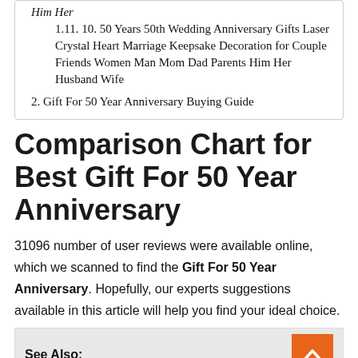1.11. 10. 50 Years 50th Wedding Anniversary Gifts Laser Crystal Heart Marriage Keepsake Decoration for Couple Friends Women Man Mom Dad Parents Him Her Husband Wife
2. Gift For 50 Year Anniversary Buying Guide
Comparison Chart for Best Gift For 50 Year Anniversary
31096 number of user reviews were available online, which we scanned to find the Gift For 50 Year Anniversary. Hopefully, our experts suggestions available in this article will help you find your ideal choice.
See Also:
» Best Bowls For Oatmeal
» Best 21st Birthday Gifts For Best Friend